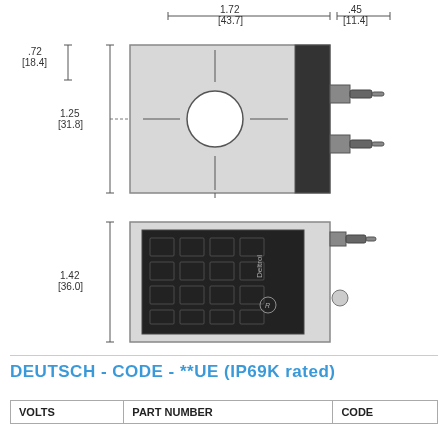[Figure (engineering-diagram): Two-view engineering drawing of a Deltrol sensor with dimensions: top view shows width 1.72 [43.7], height 1.25 [31.8], side protrusion 0.45 [11.4], offset 0.72 [18.4]. Bottom view shows height 1.42 [36.0]. Both views show the device with mounting hole and connector.]
DEUTSCH - CODE - **UE (IP69K rated)
| VOLTS | PART NUMBER | CODE |
| --- | --- | --- |